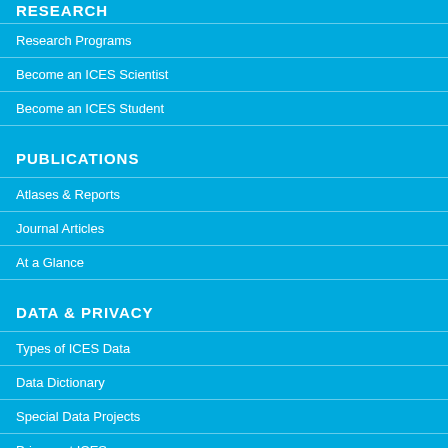RESEARCH
Research Programs
Become an ICES Scientist
Become an ICES Student
PUBLICATIONS
Atlases & Reports
Journal Articles
At a Glance
DATA & PRIVACY
Types of ICES Data
Data Dictionary
Special Data Projects
Privacy at ICES